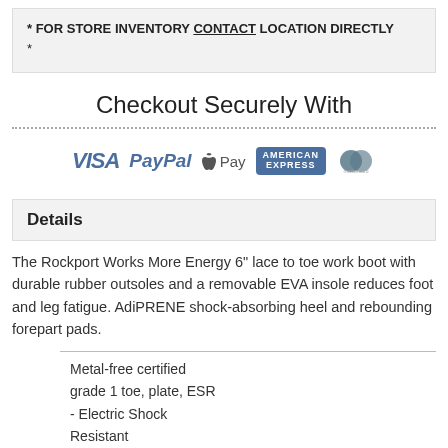* FOR STORE INVENTORY CONTACT LOCATION DIRECTLY
*
Checkout Securely With
[Figure (logo): Payment method logos: VISA, PayPal, Apple Pay, American Express, Mastercard]
Details
The Rockport Works More Energy 6" lace to toe work boot with durable rubber outsoles and a removable EVA insole reduces foot and leg fatigue. AdiPRENE shock-absorbing heel and rebounding forepart pads.
Metal-free certified grade 1 toe, plate, ESR - Electric Shock Resistant